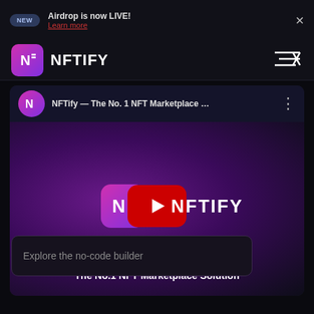NEW — Airdrop is now LIVE! Learn more ×
NFTIFY
[Figure (screenshot): NFTify YouTube video embed showing NFTify logo and play button with title 'NFTify — The No. 1 NFT Marketplace ...' and subtitle 'The No.1 NFT Marketplace Solution']
Explore the no-code builder